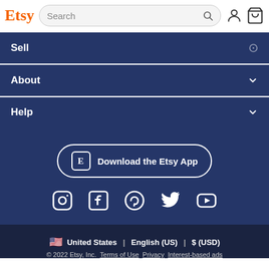[Figure (screenshot): Etsy website header with logo, search bar, user icon, and cart icon]
Sell
About
Help
[Figure (other): Download the Etsy App button with Etsy E logo]
[Figure (other): Social media icons: Instagram, Facebook, Pinterest, Twitter, YouTube]
🇺🇸 United States | English (US) | $ (USD)
© 2022 Etsy, Inc. Terms of Use  Privacy  Interest-based ads